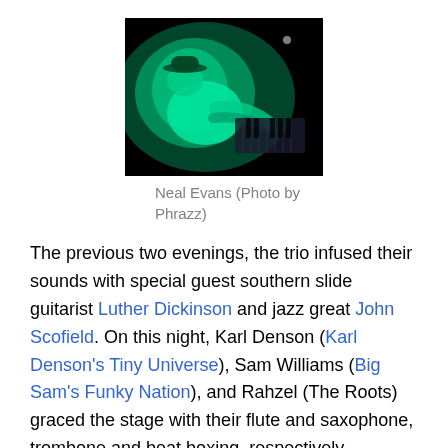[Figure (photo): A musician playing keyboard/organ on a dark stage, lit with green lighting, photographed from behind/side. Photo by Phrazz.]
Neal Evans (Photo by Phrazz)
The previous two evenings, the trio infused their sounds with special guest southern slide guitarist Luther Dickinson and jazz great John Scofield. On this night, Karl Denson (Karl Denson's Tiny Universe), Sam Williams (Big Sam's Funky Nation), and Rahzel (The Roots) graced the stage with their flute and saxophone, trombone and beat boxing, respectively.
The organ-based jazz trio kicked off their set with